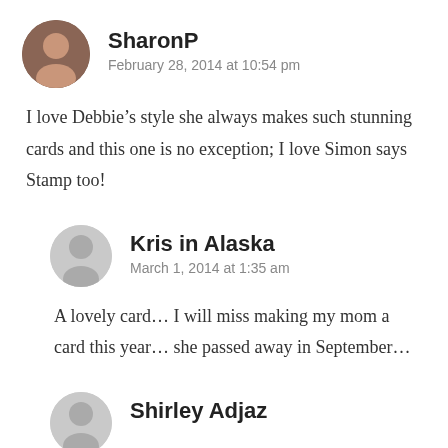SharonP
February 28, 2014 at 10:54 pm
I love Debbie’s style she always makes such stunning cards and this one is no exception; I love Simon says Stamp too!
Kris in Alaska
March 1, 2014 at 1:35 am
A lovely card… I will miss making my mom a card this year… she passed away in September…
Shirley Adjaz